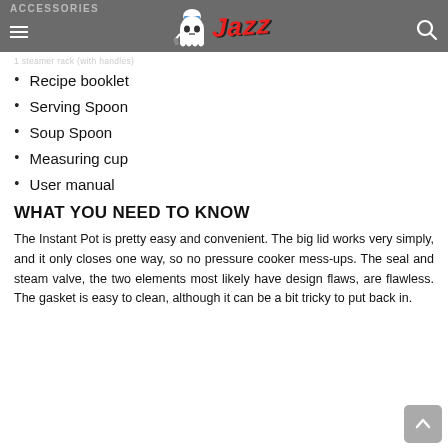ACCESSORIES — Jazz (logo)
Recipe booklet
Serving Spoon
Soup Spoon
Measuring cup
User manual
WHAT YOU NEED TO KNOW
The Instant Pot is pretty easy and convenient. The big lid works very simply, and it only closes one way, so no pressure cooker mess-ups. The seal and steam valve, the two elements most likely have design flaws, are flawless. The gasket is easy to clean, although it can be a bit tricky to put back in.